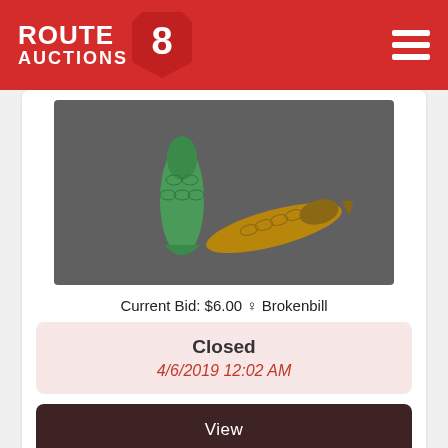ROUTE AUCTIONS
[Figure (photo): Photo of two antique glass fish-shaped bottles: one green standing upright, one amber lying on its side, on a gray background]
Current Bid: $6.00 ♀ Brokenbill
Closed
4/6/2019 12:02 AM
View
☆ 10: Antique Country Store Jar